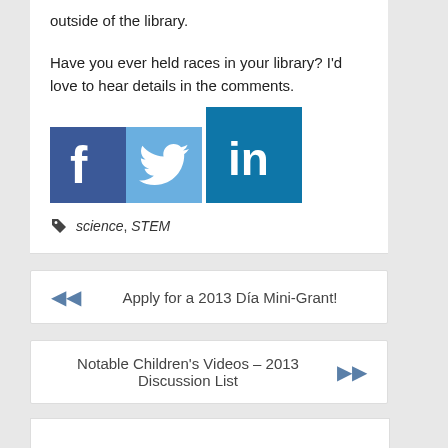outside of the library.
Have you ever held races in your library? I'd love to hear details in the comments.
[Figure (logo): Social media share icons: Facebook (dark blue with f), Twitter (light blue with bird), LinkedIn (teal with 'in')]
science, STEM
◄◄  Apply for a 2013 Día Mini-Grant!
Notable Children's Videos – 2013 Discussion List  ►►